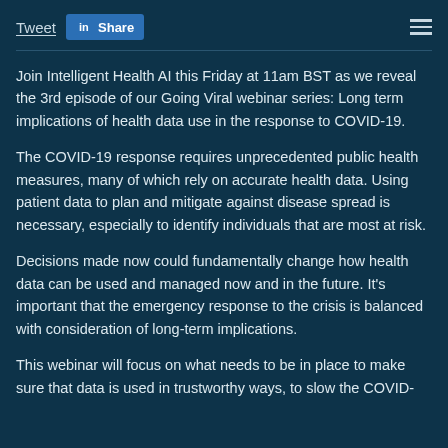Tweet  Share
Join Intelligent Health AI this Friday at 11am BST as we reveal the 3rd episode of our Going Viral webinar series: Long term implications of health data use in the response to COVID-19.
The COVID-19 response requires unprecedented public health measures, many of which rely on accurate health data. Using patient data to plan and mitigate against disease spread is necessary, especially to identify individuals that are most at risk.
Decisions made now could fundamentally change how health data can be used and managed now and in the future. It's important that the emergency response to the crisis is balanced with consideration of long-term implications.
This webinar will focus on what needs to be in place to make sure that data is used in trustworthy ways, to slow the COVID-